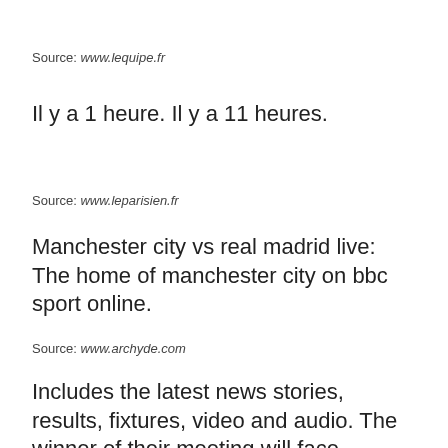Source: www.lequipe.fr
Il y a 1 heure. Il y a 11 heures.
Source: www.leparisien.fr
Manchester city vs real madrid live: The home of manchester city on bbc sport online.
Source: www.archyde.com
Includes the latest news stories, results, fixtures, video and audio. The winner of their meeting will face liverpool in the final in.